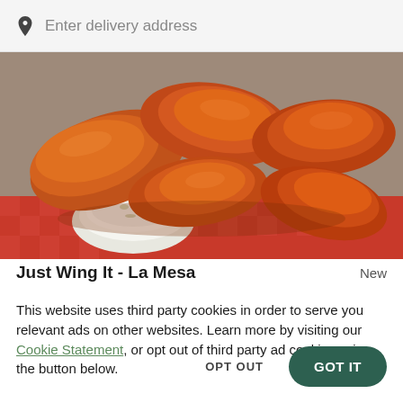Enter delivery address
[Figure (photo): Photo of crispy buffalo chicken wings piled on a red checkered surface with a small white bowl of ranch dipping sauce]
Just Wing It - La Mesa
New
This website uses third party cookies in order to serve you relevant ads on other websites. Learn more by visiting our Cookie Statement, or opt out of third party ad cookies using the button below.
OPT OUT
GOT IT